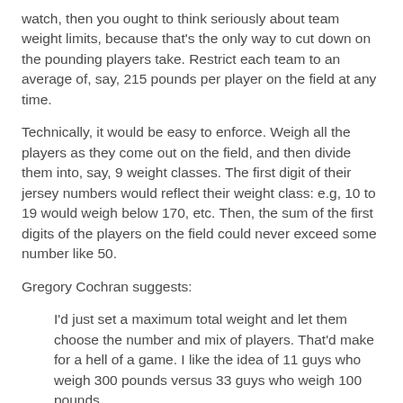watch, then you ought to think seriously about team weight limits, because that's the only way to cut down on the pounding players take. Restrict each team to an average of, say, 215 pounds per player on the field at any time.
Technically, it would be easy to enforce. Weigh all the players as they come out on the field, and then divide them into, say, 9 weight classes. The first digit of their jersey numbers would reflect their weight class: e.g, 10 to 19 would weigh below 170, etc. Then, the sum of the first digits of the players on the field could never exceed some number like 50.
Gregory Cochran suggests:
I'd just set a maximum total weight and let them choose the number and mix of players. That'd make for a hell of a game. I like the idea of 11 guys who weigh 300 pounds versus 33 guys who weigh 100 pounds.
One interesting side effect of the emergence of the black running quarterback is that white quarterbacks aren't allowed